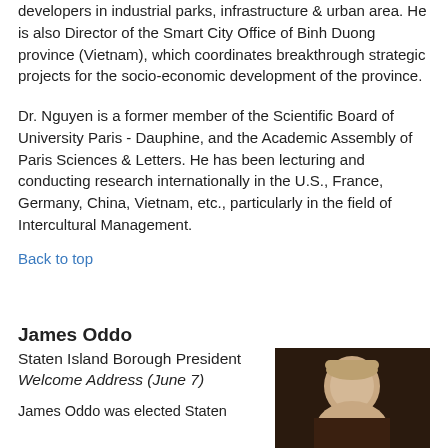developers in industrial parks, infrastructure & urban area. He is also Director of the Smart City Office of Binh Duong province (Vietnam), which coordinates breakthrough strategic projects for the socio-economic development of the province.
Dr. Nguyen is a former member of the Scientific Board of University Paris - Dauphine, and the Academic Assembly of Paris Sciences & Letters. He has been lecturing and conducting research internationally in the U.S., France, Germany, China, Vietnam, etc., particularly in the field of Intercultural Management.
Back to top
James Oddo
Staten Island Borough President
Welcome Address (June 7)
James Oddo was elected Staten...
[Figure (photo): Headshot photo of James Oddo, bald man, against dark background]